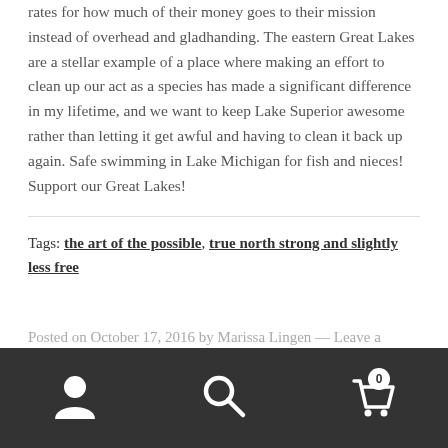rates for how much of their money goes to their mission instead of overhead and gladhanding. The eastern Great Lakes are a stellar example of a place where making an effort to clean up our act as a species has made a significant difference in my lifetime, and we want to keep Lake Superior awesome rather than letting it get awful and having to clean it back up again. Safe swimming in Lake Michigan for fish and nieces! Support our Great Lakes!
Tags: the art of the possible, true north strong and slightly less free
Posted on October 17, 2016 by Marissa Lingen — Leave a
[Figure (other): Bottom navigation bar with user icon, search icon, and cart icon with badge showing 0]